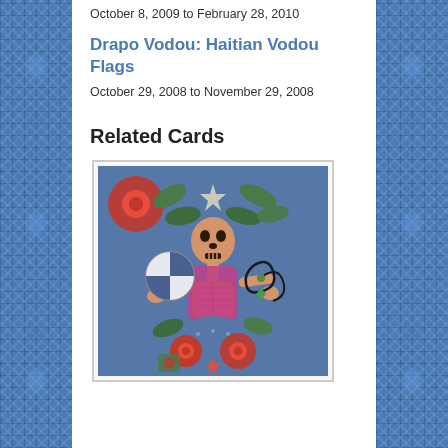October 8, 2009 to February 28, 2010
Drapo Vodou: Haitian Vodou Flags
October 29, 2008 to November 29, 2008
Related Cards
[Figure (photo): A Haitian Vodou flag artwork depicting a skeleton figure with a pink body surrounded by colorful flowers and foliage on a blue beaded background]